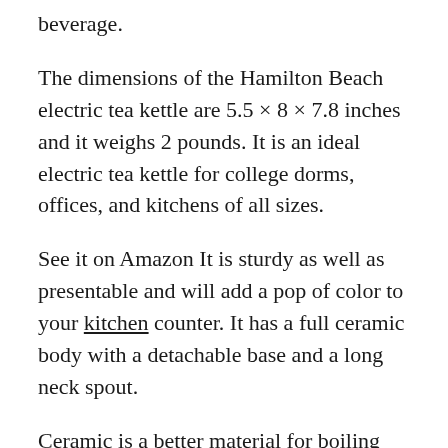beverage.
The dimensions of the Hamilton Beach electric tea kettle are 5.5 × 8 × 7.8 inches and it weighs 2 pounds. It is an ideal electric tea kettle for college dorms, offices, and kitchens of all sizes.
See it on Amazon It is sturdy as well as presentable and will add a pop of color to your kitchen counter. It has a full ceramic body with a detachable base and a long neck spout.
Ceramic is a better material for boiling water as compared to metal and it offers a timeless and high-end look to the kettle. The style is a long gooseneck type, which is ideal for controlled pouring without spills.
Ceramic also does not support a damp environment leaving no room for bacteria and